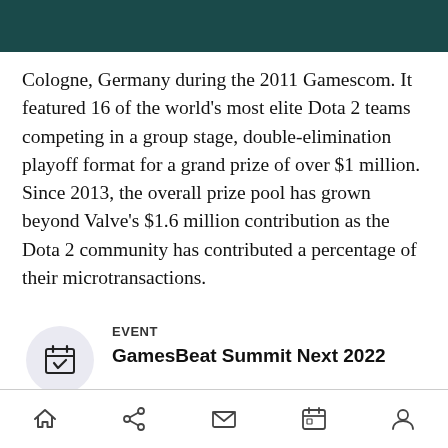Cologne, Germany during the 2011 Gamescom. It featured 16 of the world's most elite Dota 2 teams competing in a group stage, double-elimination playoff format for a grand prize of over $1 million. Since 2013, the overall prize pool has grown beyond Valve's $1.6 million contribution as the Dota 2 community has contributed a percentage of their microtransactions.
EVENT
GamesBeat Summit Next 2022
navigation bar with home, share, mail, calendar, and user icons